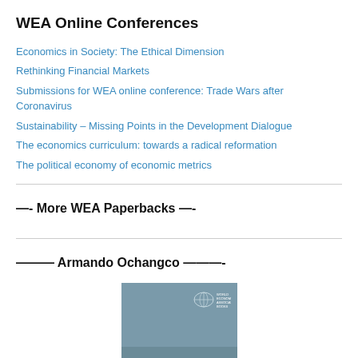WEA Online Conferences
Economics in Society: The Ethical Dimension
Rethinking Financial Markets
Submissions for WEA online conference: Trade Wars after Coronavirus
Sustainability – Missing Points in the Development Dialogue
The economics curriculum: towards a radical reformation
The political economy of economic metrics
—- More WEA Paperbacks —-
——— Armando Ochangco ———-
[Figure (photo): Book cover for 'Between Ideals and Institutions' with a grey background, world map graphic, and WEA publisher logo in the top right corner.]